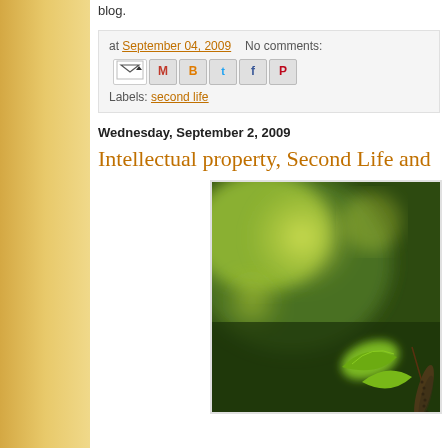blog.
at September 04, 2009   No comments:   [share icons]   Labels: second life
Wednesday, September 2, 2009
Intellectual property, Second Life and
[Figure (photo): Close-up photo of green leaves with catkins/seed pods against a blurred green bokeh background]